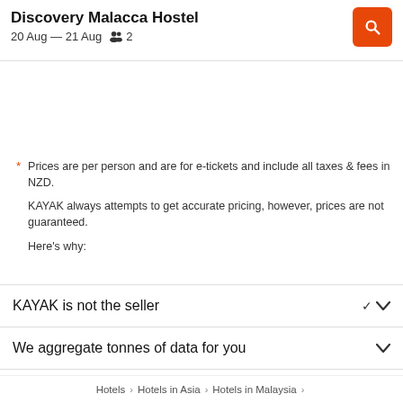Discovery Malacca Hostel · 20 Aug – 21 Aug · 2 guests
* Prices are per person and are for e-tickets and include all taxes & fees in NZD.

KAYAK always attempts to get accurate pricing, however, prices are not guaranteed.

Here's why:
KAYAK is not the seller
We aggregate tonnes of data for you
Why aren't prices 100% accurate?
Hotels › Hotels in Asia › Hotels in Malaysia ›